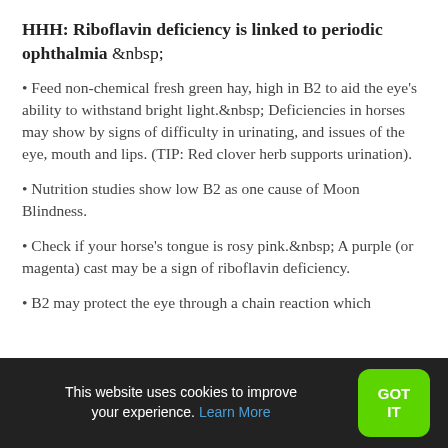HHH: Riboflavin deficiency is linked to periodic ophthalmia
• Feed non-chemical fresh green hay, high in B2 to aid the eye’s ability to withstand bright light.  Deficiencies in horses may show by signs of difficulty in urinating, and issues of the eye, mouth and lips. (TIP: Red clover herb supports urination).
• Nutrition studies show low B2 as one cause of Moon Blindness.
• Check if your horse’s tongue is rosy pink.  A purple (or magenta) cast may be a sign of riboflavin deficiency.
• B2 may protect the eye through a chain reaction which
This website uses cookies to improve your experience. Learn More  GOT IT